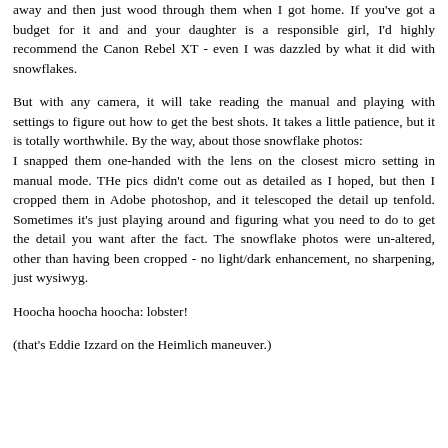away and then just wood through them when I got home. If you've got a budget for it and and your daughter is a responsible girl, I'd highly recommend the Canon Rebel XT - even I was dazzled by what it did with snowflakes.
But with any camera, it will take reading the manual and playing with settings to figure out how to get the best shots. It takes a little patience, but it is totally worthwhile. By the way, about those snowflake photos:
I snapped them one-handed with the lens on the closest micro setting in manual mode. THe pics didn't come out as detailed as I hoped, but then I cropped them in Adobe photoshop, and it telescoped the detail up tenfold. Sometimes it's just playing around and figuring what you need to do to get the detail you want after the fact. The snowflake photos were un-altered, other than having been cropped - no light/dark enhancement, no sharpening, just wysiwyg.
Hoocha hoocha hoocha: lobster!
(that's Eddie Izzard on the Heimlich maneuver.)